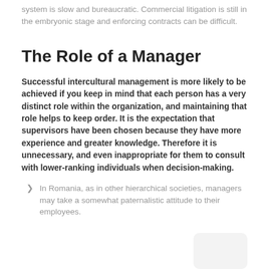system is slow and bureaucratic. Commercial litigation is still in the embryonic stage and enforcing contracts can be difficult.
The Role of a Manager
Successful intercultural management is more likely to be achieved if you keep in mind that each person has a very distinct role within the organization, and maintaining that role helps to keep order. It is the expectation that supervisors have been chosen because they have more experience and greater knowledge. Therefore it is unnecessary, and even inappropriate for them to consult with lower-ranking individuals when decision-making.
In Romania, as in other hierarchical societies, managers may take a somewhat paternalistic attitude to their employees.